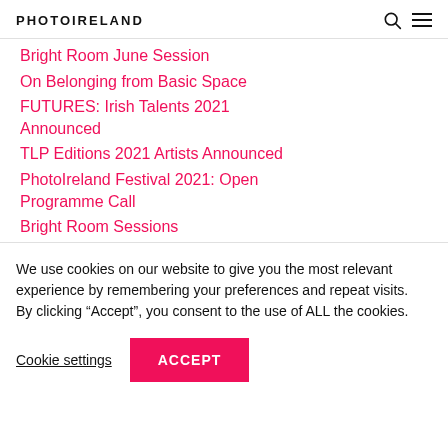PHOTOIRELAND
Bright Room June Session
On Belonging from Basic Space
FUTURES: Irish Talents 2021 Announced
TLP Editions 2021 Artists Announced
PhotoIreland Festival 2021: Open Programme Call
Bright Room Sessions
We use cookies on our website to give you the most relevant experience by remembering your preferences and repeat visits. By clicking “Accept”, you consent to the use of ALL the cookies.
Cookie settings | ACCEPT